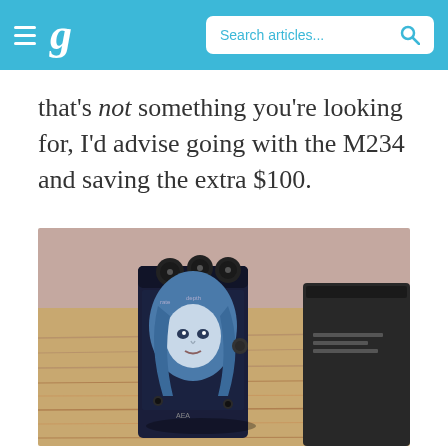g  Search articles...
that's not something you're looking for, I'd advise going with the M234 and saving the extra $100.
[Figure (photo): Photo of a small guitar effects pedal with illustrated artwork of a girl's face on the front panel, sitting on a wooden surface next to a black box packaging. The pedal is dark blue/navy with knobs on top.]